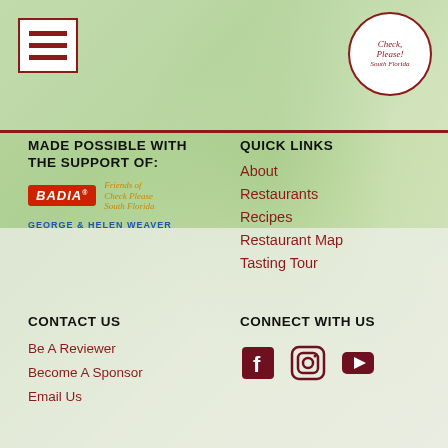[Figure (logo): Hamburger menu icon with three horizontal red bars on white background with red border]
[Figure (logo): Check Please South Florida circular logo in top right corner]
MADE POSSIBLE WITH THE SUPPORT OF:
[Figure (logo): Badia spices logo in red rectangle and Friends of Check Please South Florida text in orange italic]
GEORGE & HELEN WEAVER
QUICK LINKS
About
Restaurants
Recipes
Restaurant Map
Tasting Tour
CONTACT US
CONNECT WITH US
Be A Reviewer
Become A Sponsor
Email Us
[Figure (infographic): Social media icons: Facebook, Instagram, YouTube in dark red/maroon color]